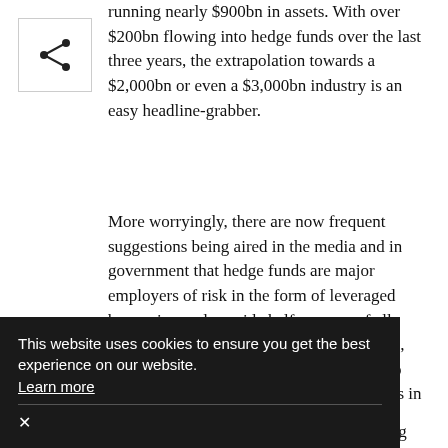[Figure (other): Share icon inside a small square box]
running nearly $900bn in assets. With over $200bn flowing into hedge funds over the last three years, the extrapolation towards a $2,000bn or even a $3,000bn industry is an easy headline-grabber.
More worryingly, there are now frequent suggestions being aired in the media and in government that hedge funds are major employers of risk in the form of leveraged borrowing and provide half or more of all brokerage commission – inferring, perhaps, that there may be an unhealthy relationship developing between banks and hedge funds in a manner not dissimilar to that between stockbrokers' analysts and their corporate finance colleagues.
...perhaps no ...nt to get ...nt amount of money potentially outside of the controlling influence of the SEC, issues such as the late
This website uses cookies to ensure you get the best experience on our website. Learn more ×